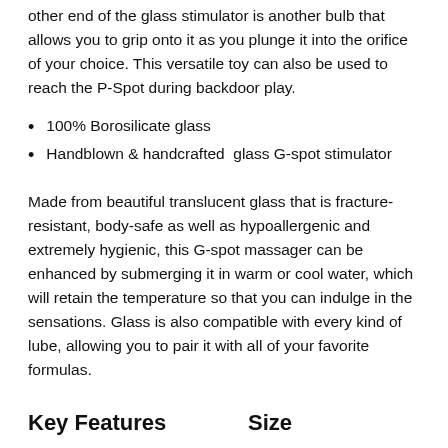other end of the glass stimulator is another bulb that allows you to grip onto it as you plunge it into the orifice of your choice. This versatile toy can also be used to reach the P-Spot during backdoor play.
100% Borosilicate glass
Handblown & handcrafted  glass G-spot stimulator
Made from beautiful translucent glass that is fracture-resistant, body-safe as well as hypoallergenic and extremely hygienic, this G-spot massager can be enhanced by submerging it in warm or cool water, which will retain the temperature so that you can indulge in the sensations. Glass is also compatible with every kind of lube, allowing you to pair it with all of your favorite formulas.
Key Features
Size